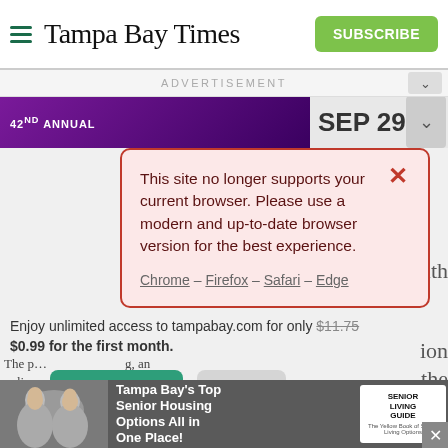[Figure (screenshot): Tampa Bay Times website header with hamburger menu icon, newspaper logo in serif font, and green SUBSCRIBE button]
ADVERTISEMENT
[Figure (screenshot): Purple advertisement banner with '42ND ANNUAL' text and 'SEP 29' date]
[Figure (screenshot): Browser compatibility warning modal with pink/red background: 'This site no longer supports your current browser. Please use a modern and up-to-date browser version for the best experience.' with links: Chrome – Firefox – Safari – Edge, and an X close button]
Enjoy unlimited access to tampabay.com for only $11.75 $0.99 for the first month.
[Figure (screenshot): Subscribe (green) and Log In (gray) buttons]
Interested in print delivery? Subscribe here →
[Figure (screenshot): Bottom advertisement banner for Tampa Bay's Top Senior Housing Options All in One Place! with Senior Living Guide logo]